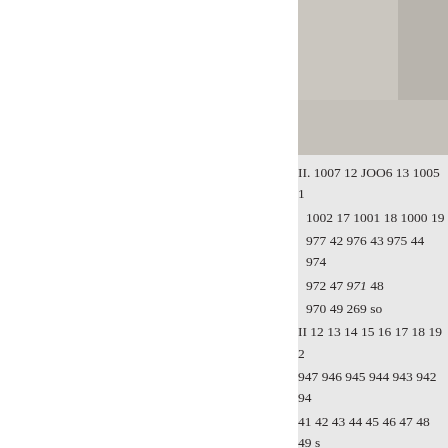[Figure (photo): Partial image visible in the upper right corner of the page, appears to be a photograph with beige/tan tones]
II. 1007 12 JOO6 13 1005 1
1002 17 1001 18 1000 19
977 42 976 43 975 44 974
972 47 971 48
970 49 269 so
II 12 13 14 15 16 17 18 19 2
947 946 945 944 943 942 94
41 42 43 44 45 46 47 48 49 s
so        998
968

52